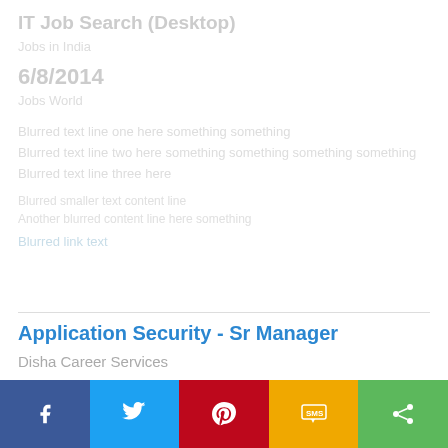IT Job Search (Desktop)
Jobs in India
6/8/2014
Jobs World
Blurred/redacted content area
Application Security - Sr Manager
Disha Career Services
Gurgaon
0 to 18 Yrs
Share buttons: Facebook, Twitter, Pinterest, SMS, More